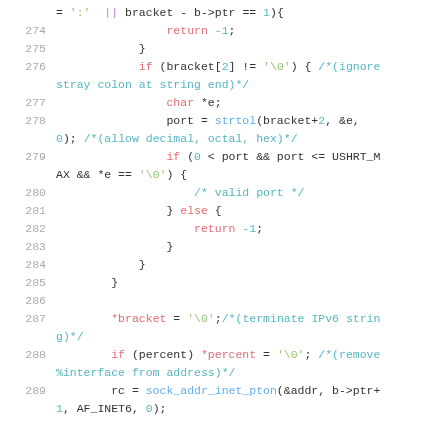[Figure (screenshot): Source code snippet showing C code with syntax highlighting, lines 274-289, dealing with IPv6 address bracket parsing and port validation.]